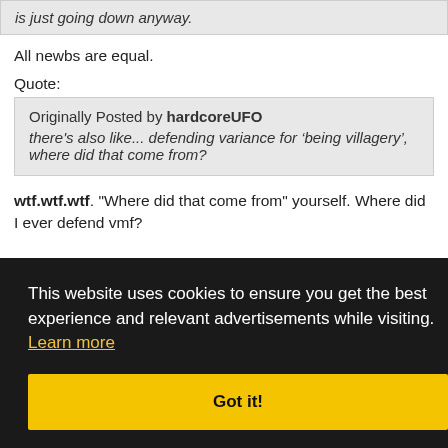is just going down anyway.
All newbs are equal.
Quote:
Originally Posted by hardcoreUFO
there's also like... defending variance for ‘being villagery’, where did that come from?
wtf.wtf.wtf. "Where did that come from" yourself. Where did I ever defend vmf?
This website uses cookies to ensure you get the best experience and relevant advertisements while visiting. Learn more
Got it!
is so
UFO.
d3
3
On
This is the last night.